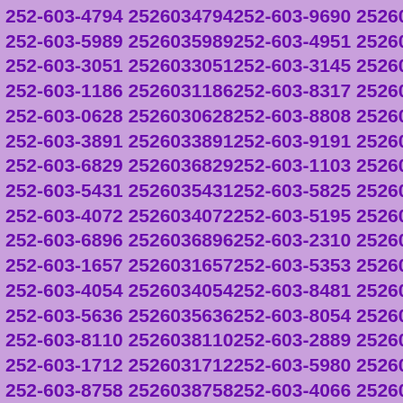| 252-603-4794 | 2526034794 | 252-603-9690 | 2526039690 |
| 252-603-5989 | 2526035989 | 252-603-4951 | 2526034951 |
| 252-603-3051 | 2526033051 | 252-603-3145 | 2526033145 |
| 252-603-1186 | 2526031186 | 252-603-8317 | 2526038317 |
| 252-603-0628 | 2526030628 | 252-603-8808 | 2526038808 |
| 252-603-3891 | 2526033891 | 252-603-9191 | 2526039191 |
| 252-603-6829 | 2526036829 | 252-603-1103 | 2526031103 |
| 252-603-5431 | 2526035431 | 252-603-5825 | 2526035825 |
| 252-603-4072 | 2526034072 | 252-603-5195 | 2526035195 |
| 252-603-6896 | 2526036896 | 252-603-2310 | 2526032310 |
| 252-603-1657 | 2526031657 | 252-603-5353 | 2526035353 |
| 252-603-4054 | 2526034054 | 252-603-8481 | 2526038481 |
| 252-603-5636 | 2526035636 | 252-603-8054 | 2526038054 |
| 252-603-8110 | 2526038110 | 252-603-2889 | 2526032889 |
| 252-603-1712 | 2526031712 | 252-603-5980 | 2526035980 |
| 252-603-8758 | 2526038758 | 252-603-4066 | 2526034066 |
| 252-603-0220 | 2526030220 | 252-603-2066 | 2526032066 |
| 252-603-3088 | 2526033088 | 252-603-1984 | 2526031984 |
| 252-603-6058 | 2526036058 | 252-603-3019 | 2526033019 |
| 252-603-8383 | 2526038383 | 252-603-5232 | 2526035232 |
| 252-603-6565 | 2526036565 | 252-603-5202 | 2526035202 |